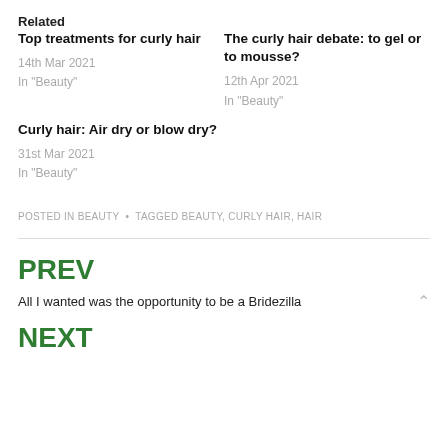Related
Top treatments for curly hair
14th Mar 2021
In "Beauty"
The curly hair debate: to gel or to mousse?
12th Apr 2021
In "Beauty"
Curly hair: Air dry or blow dry?
31st Mar 2021
In "Beauty"
POSTED IN BEAUTY • TAGGED BEAUTY, CURLY HAIR, HAIR
PREV
All I wanted was the opportunity to be a Bridezilla
NEXT